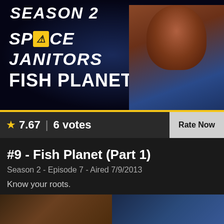[Figure (photo): TV show promotional image for Space Janitors Season 2, Fish Planet (pt. 1). Dark space background with stars, show logo, episode title text, and an alien fish-like creature character on the right side.]
★ 7.67 | 6 votes
Rate Now
#9 - Fish Planet (Part 1)
Season 2 - Episode 7 - Aired 7/9/2013
Know your roots.
[Figure (photo): Bottom portion of a screenshot showing two people from the TV show Space Janitors.]